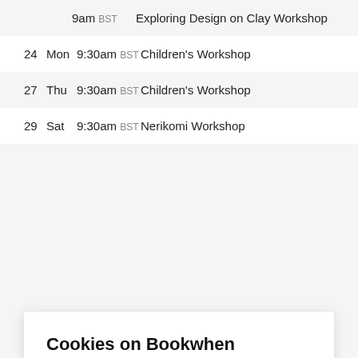| Day# | Day | Time | Event |
| --- | --- | --- | --- |
|  |  | 9am BST | Exploring Design on Clay Workshop |
| 24 | Mon | 9:30am BST | Children's Workshop |
| 27 | Thu | 9:30am BST | Children's Workshop |
| 29 | Sat | 9:30am BST | Nerikomi Workshop |
Cookies on Bookwhen
We use some essential cookies to make this website work.
We'd like to set additional cookies to understand how you use Bookwhen. We also use cookies set by other sites to help us deliver content from their services.
Accept additional cookies
Manage cookies
Theme